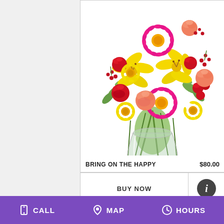[Figure (photo): A colorful floral arrangement in a glass vase featuring yellow lilies, pink gerbera daisies, red and peach roses, yellow daisies, and red berry accents.]
BRING ON THE HAPPY   $80.00
BUY NOW
CALL   MAP   HOURS